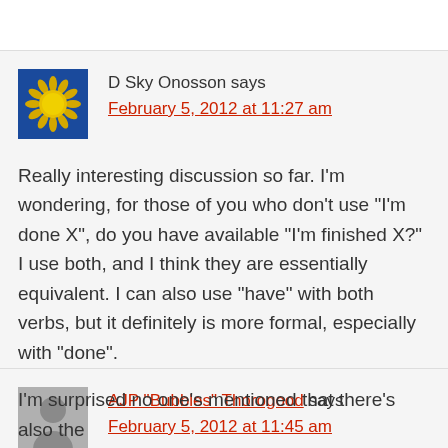D Sky Onosson says
February 5, 2012 at 11:27 am
Really interesting discussion so far. I'm wondering, for those of you who don't use “I'm done X”, do you have available “I'm finished X?” I use both, and I think they are essentially equivalent. I can also use “have” with both verbs, but it definitely is more formal, especially with “done”.
AJP "Bubbles" Thorogood says
February 5, 2012 at 11:45 am
I'm surprised no one's mentioned that there's also the